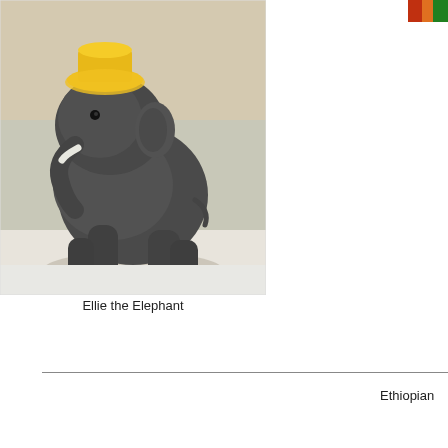[Figure (photo): A stuffed/ceramic dark grey elephant figurine wearing a yellow hat, photographed on a white surface. The elephant is posed in a sitting/standing position.]
Ellie the Elephant
[Figure (photo): Partial view of a colorful object (appears to be a beaded or decorated item in red, green, orange colors) cropped at the right edge.]
Ethiopian